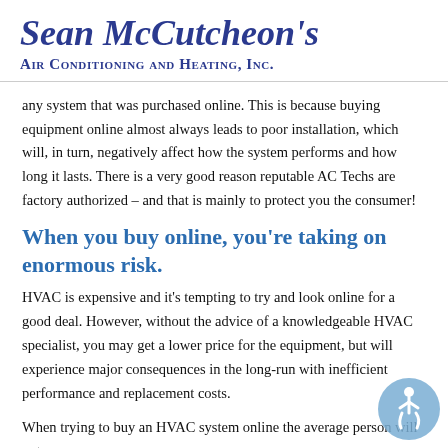Sean McCutcheon's Air Conditioning and Heating, Inc.
any system that was purchased online. This is because buying equipment online almost always leads to poor installation, which will, in turn, negatively affect how the system performs and how long it lasts. There is a very good reason reputable AC Techs are factory authorized – and that is mainly to protect you the consumer!
When you buy online, you're taking on enormous risk.
HVAC is expensive and it's tempting to try and look online for a good deal. However, without the advice of a knowledgeable HVAC specialist, you may get a lower price for the equipment, but will experience major consequences in the long-run with inefficient performance and replacement costs.
When trying to buy an HVAC system online the average person will not